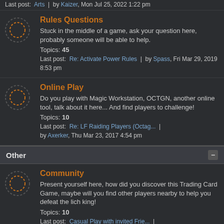Last post: Arts | by Kaizer, Mon Jul 25, 2022 1:22 pm
Rules Questions
Stuck in the middle of a game, ask your question here, probably someone will be able to help. Topics: 45 Last post: Re: Activate Power Rules | by Spass, Fri Mar 29, 2019 8:53 pm
Online Play
Do you play with Magic Workstation, OCTGN, another online tool, talk about it here... And find players to challenge! Topics: 10 Last post: Re: LF Raiding Players (Octag... | by Axerker, Thu Mar 23, 2017 4:54 pm
Other
Community
Present yourself here, how did you discover this Trading Card Game, maybe will you find other players nearby to help you defeat the lich king! Topics: 10 Last post: Casual Play with invited Frie... | by QBFINEST, Sun Mar 24, 2019 3:49 am